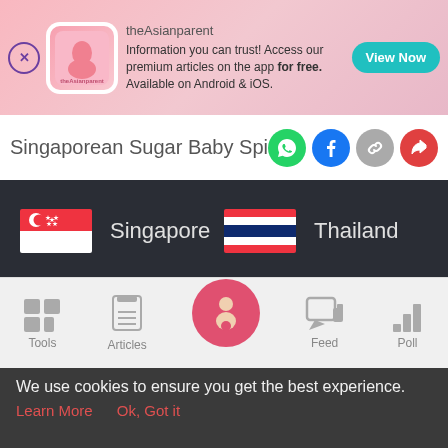[Figure (screenshot): theAsianparent app advertisement banner with logo, text and View Now button]
Singaporean Sugar Baby Spills The B
[Figure (infographic): Country selection grid on dark background showing Singapore, Thailand, Indonesia, Philippines, Malaysia, Sri Lanka flags with country names]
[Figure (infographic): Bottom navigation bar with Tools, Articles, home (pregnant woman icon), Feed, Poll icons]
We use cookies to ensure you get the best experience.
Learn More
Ok, Got it